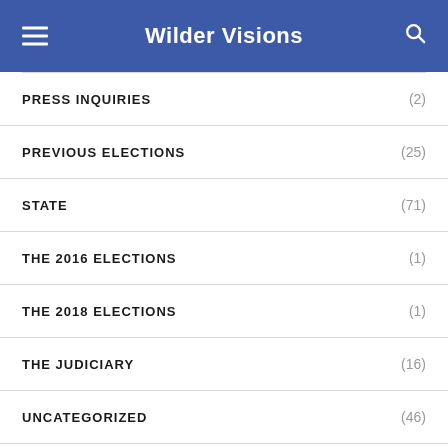Wilder Visions
PRESS INQUIRIES (2)
PREVIOUS ELECTIONS (25)
STATE (71)
THE 2016 ELECTIONS (1)
THE 2018 ELECTIONS (1)
THE JUDICIARY (16)
UNCATEGORIZED (46)